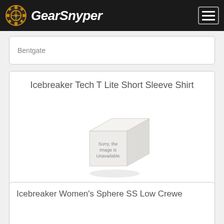GearSnyper
Bentgate
Icebreaker Tech T Lite Short Sleeve Shirt
[Figure (photo): Unavailable product image placeholder (cube shape with 'Sorry, the Image is Unavailable' text)]
$74.95
Buy It!
Bentgate
Icebreaker Women's Sphere SS Low Crewe